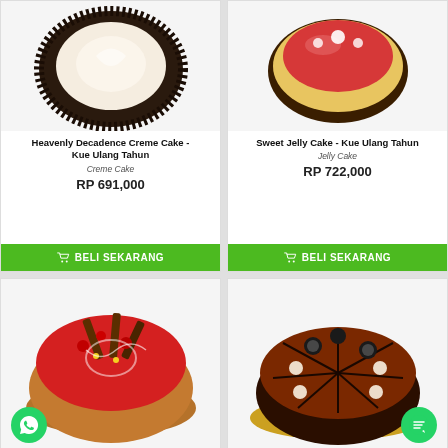[Figure (photo): Heavenly Decadence Creme Cake - top view of a round chocolate-rimmed cream cake]
Heavenly Decadence Creme Cake - Kue Ulang Tahun
Creme Cake
RP 691,000
BELI SEKARANG
[Figure (photo): Sweet Jelly Cake - top view of a round cake with jelly toppings]
Sweet Jelly Cake - Kue Ulang Tahun
Jelly Cake
RP 722,000
BELI SEKARANG
[Figure (photo): A red strawberry decorated chocolate cake with wafer sticks, cherries and nut crumble sides]
[Figure (photo): A chocolate cake sliced into segments with cream rosettes and dark chocolate topping]